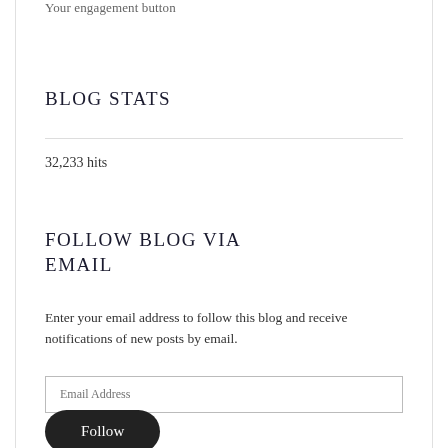Your engagement button
BLOG STATS
32,233 hits
FOLLOW BLOG VIA EMAIL
Enter your email address to follow this blog and receive notifications of new posts by email.
Email Address
Follow